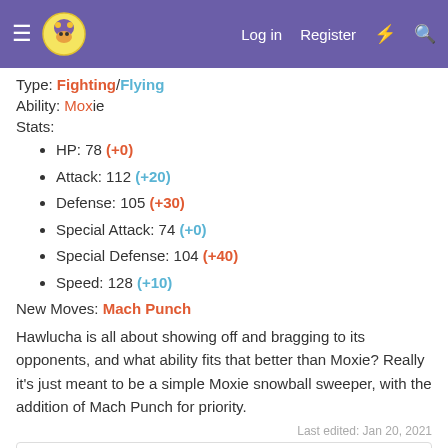Navigation bar with logo, Log in, Register, and search icons
Type: Fighting/Flying
Ability: Moxie
Stats:
HP: 78 (+0)
Attack: 112 (+20)
Defense: 105 (+30)
Special Attack: 74 (+0)
Special Defense: 104 (+40)
Speed: 128 (+10)
New Moves: Mach Punch
Hawlucha is all about showing off and bragging to its opponents, and what ability fits that better than Moxie? Really it's just meant to be a simple Moxie snowball sweeper, with the addition of Mach Punch for priority.
Last edited: Jan 20, 2021
ViZar and Inmundo